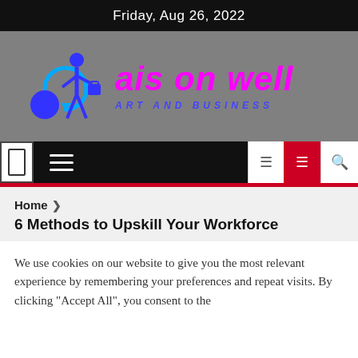Friday, Aug 26, 2022
[Figure (logo): ais on well Art and Business logo with blue stick figure icon and cyan arrow, magenta italic main text and blue italic all-caps subtitle ART AND BUSINESS]
Home › 6 Methods to Upskill Your Workforce
6 Methods to Upskill Your Workforce
We use cookies on our website to give you the most relevant experience by remembering your preferences and repeat visits. By clicking "Accept All", you consent to the